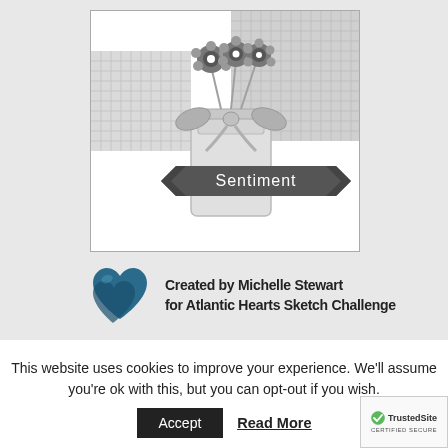[Figure (illustration): A card sketch/template showing a mason jar with flowers (daisies) on top, a decorative bow, a grid/crosshatch background pattern, and a dark banner ribbon with the word 'Sentiment' written in white text.]
[Figure (logo): Atlantic Hearts Sketch Challenge logo: a blue/teal watercolor heart shape on the left, with bold text reading 'Created by Michelle Stewart for Atlantic Hearts Sketch Challenge' on the right.]
This website uses cookies to improve your experience. We'll assume you're ok with this, but you can opt-out if you wish.
Accept
Read More
[Figure (logo): TrustedSite CERTIFIED SECURE badge with green checkmark.]